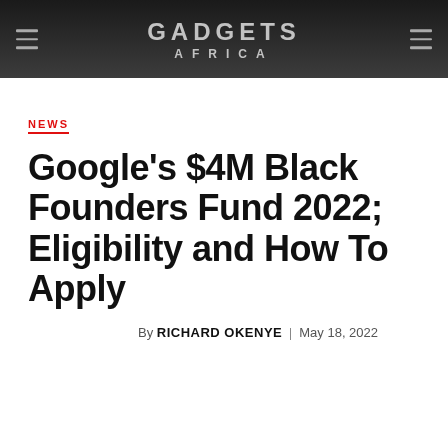GADGETS AFRICA
NEWS
Google's $4M Black Founders Fund 2022; Eligibility and How To Apply
By RICHARD OKENYE | May 18, 2022